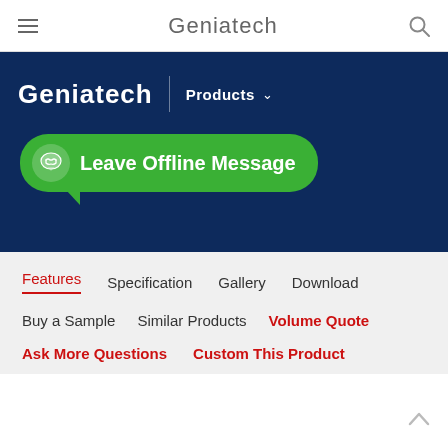Geniatech
[Figure (screenshot): Geniatech website header with logo, Products dropdown, and Leave Offline Message green button on dark blue banner background]
Features | Specification | Gallery | Download
Buy a Sample | Similar Products | Volume Quote
Ask More Questions | Custom This Product